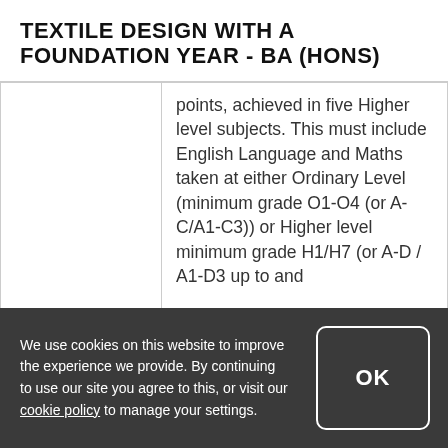TEXTILE DESIGN WITH A FOUNDATION YEAR - BA (HONS)
|  | Requirements |
| --- | --- |
|  | points, achieved in five Higher level subjects. This must include English Language and Maths taken at either Ordinary Level (minimum grade O1-O4 (or A-C/A1-C3)) or Higher level minimum grade H1/H7 (or A-D / A1-D3 up to and |
We use cookies on this website to improve the experience we provide. By continuing to use our site you agree to this, or visit our cookie policy to manage your settings.